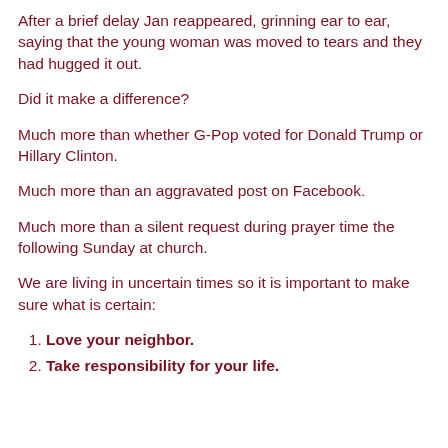After a brief delay Jan reappeared, grinning ear to ear, saying that the young woman was moved to tears and they had hugged it out.
Did it make a difference?
Much more than whether G-Pop voted for Donald Trump or Hillary Clinton.
Much more than an aggravated post on Facebook.
Much more than a silent request during prayer time the following Sunday at church.
We are living in uncertain times so it is important to make sure what is certain:
Love your neighbor.
Take responsibility for your life.